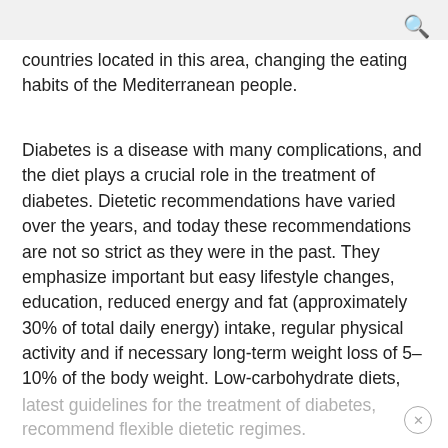🔍
countries located in this area, changing the eating habits of the Mediterranean people.
Diabetes is a disease with many complications, and the diet plays a crucial role in the treatment of diabetes. Dietetic recommendations have varied over the years, and today these recommendations are not so strict as they were in the past. They emphasize important but easy lifestyle changes, education, reduced energy and fat (approximately 30% of total daily energy) intake, regular physical activity and if necessary long-term weight loss of 5–10% of the body weight. Low-carbohydrate diets, which restricted total carbohydrates to very low quantities, are no longer recommended. The latest guidelines for the treatment of diabetes, recommend flexible dietetic regimes.